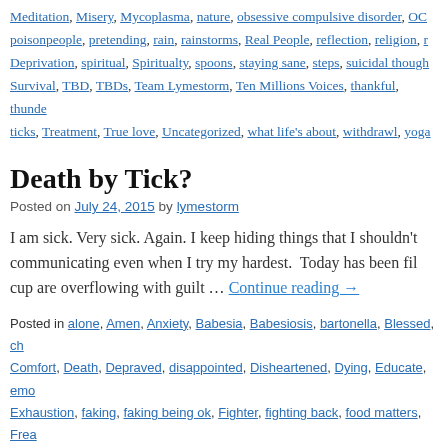Meditation, Misery, Mycoplasma, nature, obsessive compulsive disorder, OC poisonpeople, pretending, rain, rainstorms, Real People, reflection, religion, r Deprivation, spiritual, Spiritualty, spoons, staying sane, steps, suicidal though Survival, TBD, TBDs, Team Lymestorm, Ten Millions Voices, thankful, thunde ticks, Treatment, True love, Uncategorized, what life's about, withdrawl, yoga
Death by Tick?
Posted on July 24, 2015 by lymestorm
I am sick. Very sick. Again. I keep hiding things that I shouldn't communicating even when I try my hardest. Today has been fil cup are overflowing with guilt … Continue reading →
Posted in alone, Amen, Anxiety, Babesia, Babesiosis, bartonella, Blessed, ch Comfort, Death, Depraved, disappointed, Disheartened, Dying, Educate, emo Exhaustion, faking, faking being ok, Fighter, fighting back, food matters, Frea worse, go your own way, growing, healing, healng yourself, Hell, Help, helpin Immune problems, Immune system, Its not your fault, Journey, LBC, left brain LLMD, loneliness, Love, Lyme, lyme disease, Lzzy Hale, Medical, Medication nature, No Stamina, obsessive compulsive disorder, OCD, oral medication, o pretending, psych ward, reflection, religion, right brain, Shaman's Harvest, si spiritual, steps, suicidal thoughts, Suicide, Support groups, Survival, TBD, TB